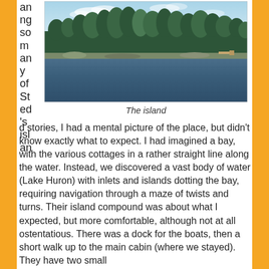an ng so m an y of St ed 's isl an
[Figure (photo): A forested island shoreline viewed from the water, with dense evergreen trees and rocky shores along a calm bay (Lake Huron).]
The island
d stories, I had a mental picture of the place, but didn't know exactly what to expect. I had imagined a bay, with the various cottages in a rather straight line along the water. Instead, we discovered a vast body of water (Lake Huron) with inlets and islands dotting the bay, requiring navigation through a maze of twists and turns. Their island compound was about what I expected, but more comfortable, although not at all ostentatious. There was a dock for the boats, then a short walk up to the main cabin (where we stayed). They have two small